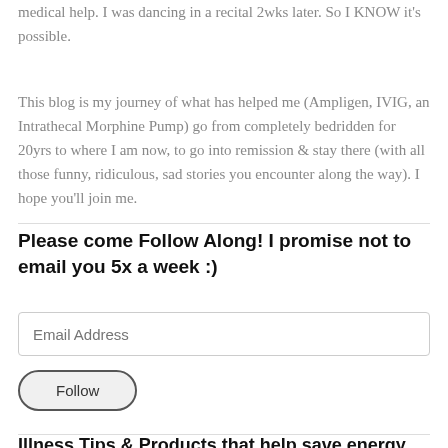medical help. I was dancing in a recital 2wks later. So I KNOW it's possible.
This blog is my journey of what has helped me (Ampligen, IVIG, an Intrathecal Morphine Pump) go from completely bedridden for 20yrs to where I am now, to go into remission & stay there (with all those funny, ridiculous, sad stories you encounter along the way). I hope you'll join me.
Please come Follow Along! I promise not to email you 5x a week :)
Email Address
Follow
Illness Tips & Products that help save energy, but